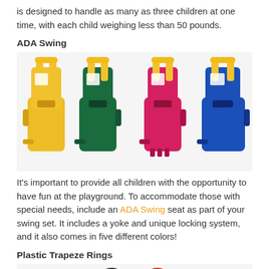is designed to handle as many as three children at one time, with each child weighing less than 50 pounds.
ADA Swing
[Figure (photo): Four ADA swing seats shown side by side in yellow, green, red, and blue colors, each with a yellow yoke/locking system on top.]
It's important to provide all children with the opportunity to have fun at the playground. To accommodate those with special needs, include an ADA Swing seat as part of your swing set. It includes a yoke and unique locking system, and it also comes in five different colors!
Plastic Trapeze Rings
[Figure (photo): Partial view of plastic trapeze rings in dark and red colors at the bottom of the page.]